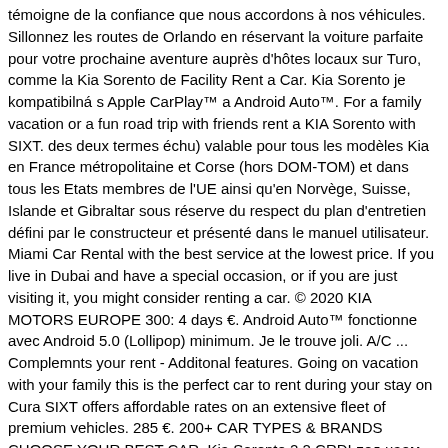témoigne de la confiance que nous accordons à nos véhicules. Sillonnez les routes de Orlando en réservant la voiture parfaite pour votre prochaine aventure auprès d'hôtes locaux sur Turo, comme la Kia Sorento de Facility Rent a Car. Kia Sorento je kompatibilná s Apple CarPlay™ a Android Auto™. For a family vacation or a fun road trip with friends rent a KIA Sorento with SIXT. des deux termes échu) valable pour tous les modèles Kia en France métropolitaine et Corse (hors DOM-TOM) et dans tous les Etats membres de l'UE ainsi qu'en Norvège, Suisse, Islande et Gibraltar sous réserve du respect du plan d'entretien défini par le constructeur et présenté dans le manuel utilisateur. Miami Car Rental with the best service at the lowest price. If you live in Dubai and have a special occasion, or if you are just visiting it, you might consider renting a car. © 2020 KIA MOTORS EUROPE 300: 4 days €. Android Auto™ fonctionne avec Android 5.0 (Lollipop) minimum. Je le trouve joli. A/C ... Complemnts your rent - Additonal features. Going on vacation with your family this is the perfect car to rent during your stay on Cura SIXT offers affordable rates on an extensive fleet of premium vehicles. 285 €. 200+ CAR TYPES & BRANDS CHOOSE YOUR BEST CAR. Kia Sorento 2.2 CRDI под наем – джип , 5+2 места, дизел, 6-степенна автоматична скоростна кутия, климатик, радио и CD, разход на гориво: градско – 9.3 л/100 км, извънградско – 6.00 л/ 100 км. Cooler Coleman $2.00 USD Child Safety Seat $3.00 USD. If you are looking for the getting from...